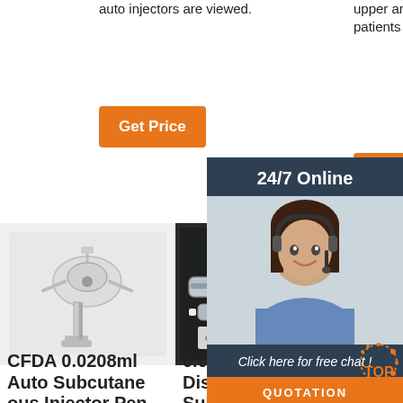auto injectors are viewed.
upper arm—no need for patients to disrobe.
[Figure (other): Orange 'Get Price' button on left column]
[Figure (other): Orange 'Get' button on right column]
[Figure (other): 24/7 Online chat overlay panel with customer service agent photo, 'Click here for free chat!' text, and orange QUOTATION button]
[Figure (photo): CFDA 0.0208ml Auto Subcutaneous Injector Pen - microscope/injector device photo]
[Figure (photo): 0.0208ml To 0.75ml Disposable Subcutaneous Pen Injector - dental handpiece and pen photo]
[Figure (photo): OTR (METHOTREXATE) INJECTION APPROVED BY - device photo]
CFDA 0.0208ml Auto Subcutaneous Injector Pen
0.0208ml To 0.75ml Disposable Subcutaneous Pen Injector
OTR (METHOTREXATE) INJECTION APPROVED BY